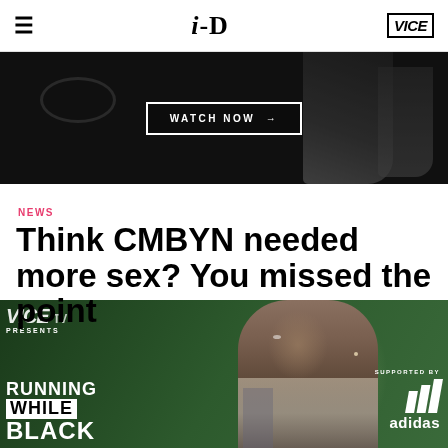i-D | VICE
[Figure (screenshot): Dark hero banner with WATCH NOW button and arrow]
NEWS
Think CMBYN needed more sex? You missed the point
[Figure (photo): Vice TV Presents: Running While Black – supported by adidas. Shows a Black man running, with Vice TV logo overlay and adidas branding.]